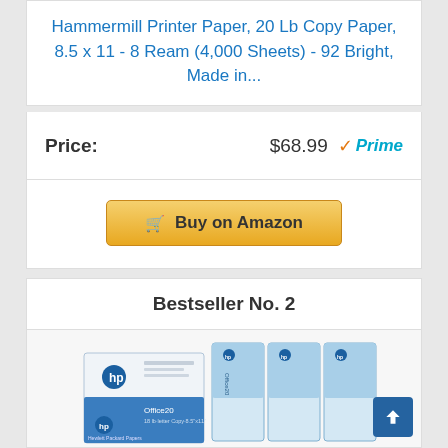Hammermill Printer Paper, 20 Lb Copy Paper, 8.5 x 11 - 8 Ream (4,000 Sheets) - 92 Bright, Made in...
Price: $68.99 ✓Prime
[Figure (other): Buy on Amazon button with shopping cart icon]
Bestseller No. 2
[Figure (photo): HP Office20 paper product boxes stacked — white and blue packaging with HP logo]